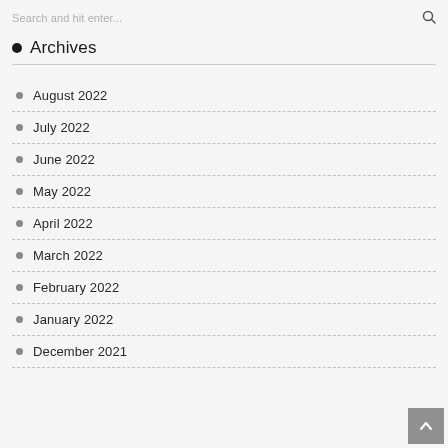Search and hit enter...
Archives
August 2022
July 2022
June 2022
May 2022
April 2022
March 2022
February 2022
January 2022
December 2021